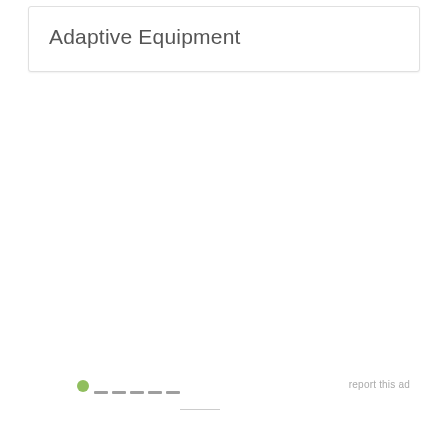Adaptive Equipment
report this ad